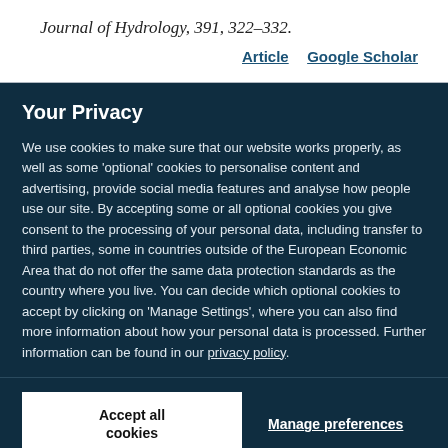Journal of Hydrology, 391, 322–332.
Article   Google Scholar
Your Privacy
We use cookies to make sure that our website works properly, as well as some 'optional' cookies to personalise content and advertising, provide social media features and analyse how people use our site. By accepting some or all optional cookies you give consent to the processing of your personal data, including transfer to third parties, some in countries outside of the European Economic Area that do not offer the same data protection standards as the country where you live. You can decide which optional cookies to accept by clicking on 'Manage Settings', where you can also find more information about how your personal data is processed. Further information can be found in our privacy policy.
Accept all cookies
Manage preferences